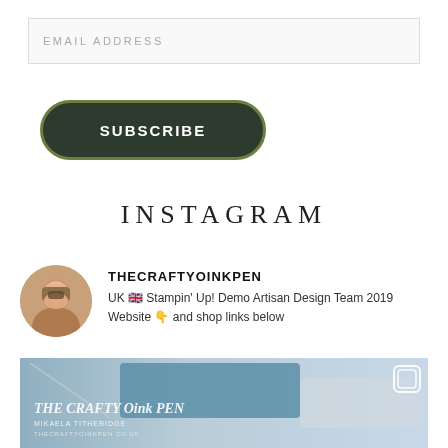EMAIL ADDRESS
SUBSCRIBE
INSTAGRAM
THECRAFTYOINKPEN
UK 🇬🇧 Stampin' Up! Demo Artisan Design Team 2019 Website 👇 and shop links below
[Figure (photo): Instagram post image showing crafting supplies with 'The Crafty Oink Pen' branding overlay, Mikaela Titheridge, thecraftyoinkpen.co.uk]